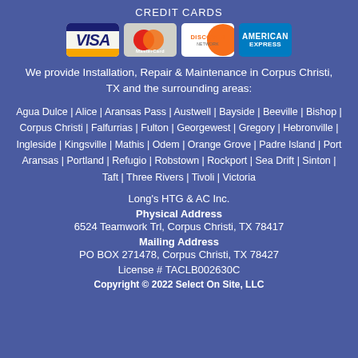CREDIT CARDS
[Figure (logo): Credit card logos: Visa, MasterCard, Discover Network, American Express]
We provide Installation, Repair & Maintenance in Corpus Christi, TX and the surrounding areas:
Agua Dulce | Alice | Aransas Pass | Austwell | Bayside | Beeville | Bishop | Corpus Christi | Falfurrias | Fulton | Georgewest | Gregory | Hebronville | Ingleside | Kingsville | Mathis | Odem | Orange Grove | Padre Island | Port Aransas | Portland | Refugio | Robstown | Rockport | Sea Drift | Sinton | Taft | Three Rivers | Tivoli | Victoria
Long's HTG & AC Inc.
Physical Address
6524 Teamwork Trl, Corpus Christi, TX 78417
Mailing Address
PO BOX 271478, Corpus Christi, TX 78427
License # TACLB002630C
Copyright © 2022 Select On Site, LLC